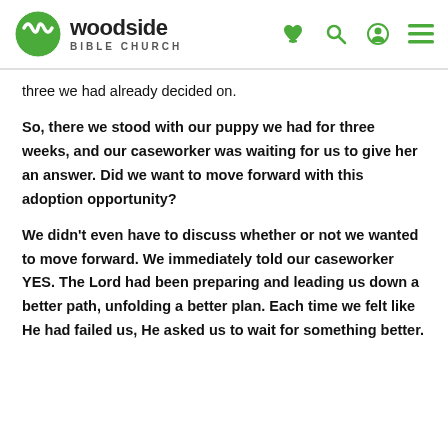Woodside Bible Church
three we had already decided on.
So, there we stood with our puppy we had for three weeks, and our caseworker was waiting for us to give her an answer. Did we want to move forward with this adoption opportunity?
We didn’t even have to discuss whether or not we wanted to move forward. We immediately told our caseworker YES. The Lord had been preparing and leading us down a better path, unfolding a better plan. Each time we felt like He had failed us, He asked us to wait for something better.